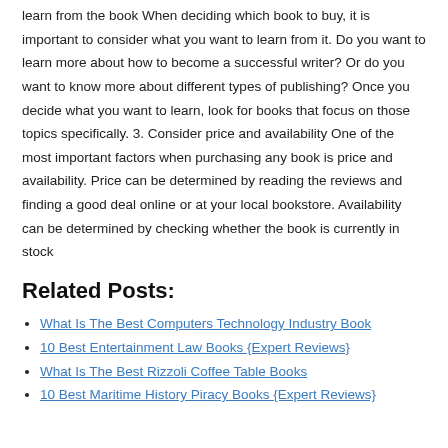learn from the book When deciding which book to buy, it is important to consider what you want to learn from it. Do you want to learn more about how to become a successful writer? Or do you want to know more about different types of publishing? Once you decide what you want to learn, look for books that focus on those topics specifically. 3. Consider price and availability One of the most important factors when purchasing any book is price and availability. Price can be determined by reading the reviews and finding a good deal online or at your local bookstore. Availability can be determined by checking whether the book is currently in stock
Related Posts:
What Is The Best Computers Technology Industry Book
10 Best Entertainment Law Books {Expert Reviews}
What Is The Best Rizzoli Coffee Table Books
10 Best Maritime History Piracy Books {Expert Reviews}